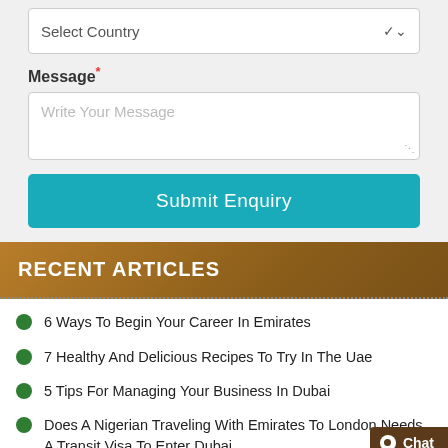[Figure (screenshot): Select Country dropdown input field with chevron arrow]
Message*
[Figure (screenshot): Write Your Message textarea input field]
Submit Enquiry
RECENT ARTICLES
6 Ways To Begin Your Career In Emirates
7 Healthy And Delicious Recipes To Try In The Uae
5 Tips For Managing Your Business In Dubai
Does A Nigerian Traveling With Emirates To London Needs A Transit Visa To Enter Dubai